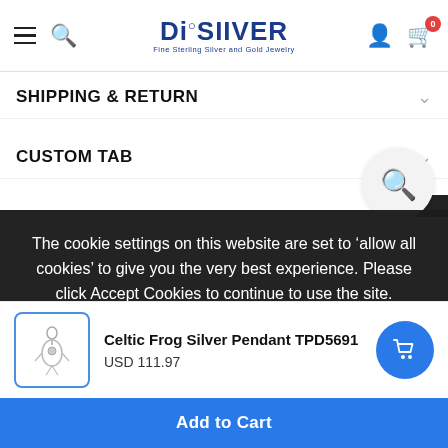DieSilver - Fine Sterling Silver and Gold Jewelry
SHIPPING & RETURN
CUSTOM TAB
The cookie settings on this website are set to ‘allow all cookies’ to give you the very best experience. Please click Accept Cookies to continue to use the site.
Celtic Frog Silver Pendant TPD5691
USD 111.97
Add to Cart